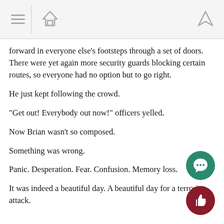Navigation toolbar with hamburger menu, home icon, and up arrow
forward in everyone else’s footsteps through a set of doors. There were yet again more security guards blocking certain routes, so everyone had no option but to go right.
He just kept following the crowd.
“Get out! Everybody out now!” officers yelled.
Now Brian wasn’t so composed.
Something was wrong.
Panic. Desperation. Fear. Confusion. Memory loss.
It was indeed a beautiful day. A beautiful day for a terrorist attack.
[Figure (illustration): Green circular comment/speech bubble button]
[Figure (illustration): Dark red circular thumbs-up like button]